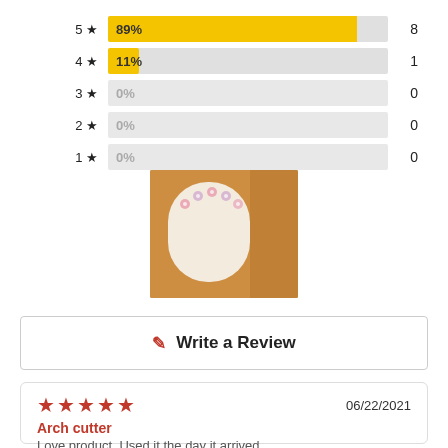[Figure (bar-chart): Star rating distribution]
[Figure (photo): Product photo showing an arch-shaped cookie cutter on a baked good with floral decoration]
Write a Review
[Figure (other): Five filled star rating icons in dark red/brown]
06/22/2021
Arch cutter
Love product. Used it the day it arrived.